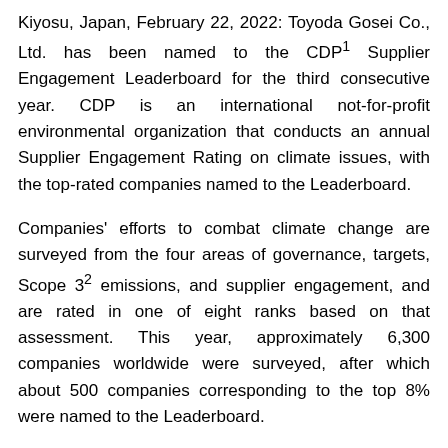Kiyosu, Japan, February 22, 2022: Toyoda Gosei Co., Ltd. has been named to the CDP¹ Supplier Engagement Leaderboard for the third consecutive year. CDP is an international not-for-profit environmental organization that conducts an annual Supplier Engagement Rating on climate issues, with the top-rated companies named to the Leaderboard.
Companies' efforts to combat climate change are surveyed from the four areas of governance, targets, Scope 3² emissions, and supplier engagement, and are rated in one of eight ranks based on that assessment. This year, approximately 6,300 companies worldwide were surveyed, after which about 500 companies corresponding to the top 8% were named to the Leaderboard.
Toyoda Gosei was rated highly for its CO₂ reductions in coordination with suppliers, information disclosure on Scope 3 emissions, and efforts to combat climate change.